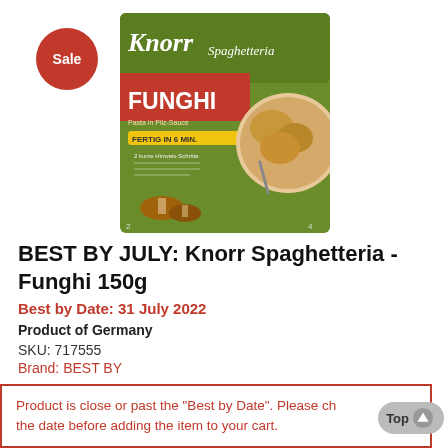[Figure (photo): Red circular Sale badge in top left corner]
[Figure (photo): Knorr Spaghetteria Funghi 150g product package - green and red packaging with mushroom pasta image]
BEST BY JULY: Knorr Spaghetteria - Funghi 150g
Best by Date: 31 July 2022
Product of Germany
SKU: 717555
Brand: BEST BY
Product is close or past the "Best by Date". Please ch the date before adding the item to your cart.